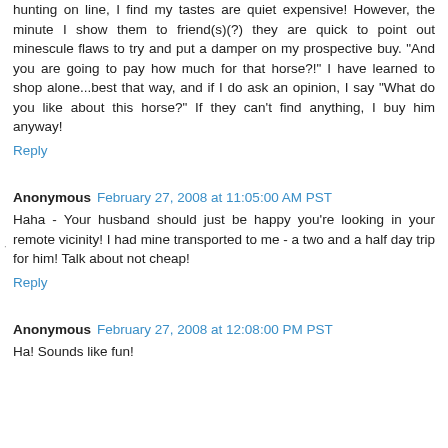hunting on line, I find my tastes are quiet expensive! However, the minute I show them to friend(s)(?) they are quick to point out minescule flaws to try and put a damper on my prospective buy. "And you are going to pay how much for that horse?!" I have learned to shop alone...best that way, and if I do ask an opinion, I say "What do you like about this horse?" If they can't find anything, I buy him anyway!
Reply
Anonymous  February 27, 2008 at 11:05:00 AM PST
Haha - Your husband should just be happy you're looking in your remote vicinity! I had mine transported to me - a two and a half day trip for him! Talk about not cheap!
Reply
Anonymous  February 27, 2008 at 12:08:00 PM PST
Ha! Sounds like fun!